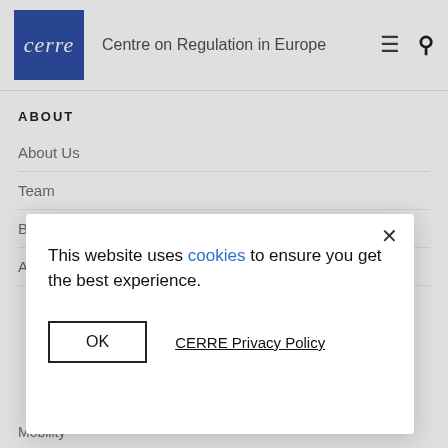[Figure (logo): CERRE blue square logo with white italic text 'cerre' and site name 'Centre on Regulation in Europe' beside it, with hamburger menu and search icons]
ABOUT
About Us
Team
Board of Directors
Annual review
This website uses cookies to ensure you get the best experience.
OK    CERRE Privacy Policy
Mobility